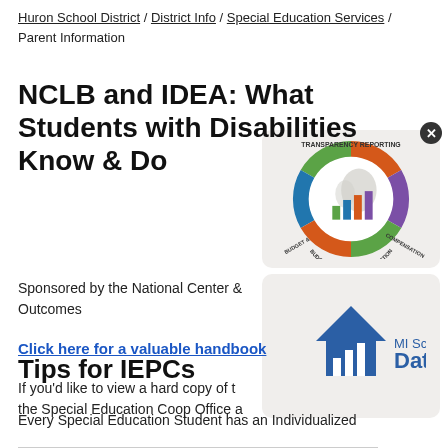Huron School District / District Info / Special Education Services / Parent Information
NCLB and IDEA: What Students with Disabilities Know & Do
[Figure (logo): Transparency Reporting Budget & Salary/Compensation circular badge with Michigan map and bar chart]
Sponsored by the National Center Outcomes
Click here for a valuable handbook
If you'd like to view a hard copy of the Special Education Coop Office
[Figure (logo): MI School Data logo with house and bar chart icon]
Tips for IEPCs
Every Special Education Student has an Individualized